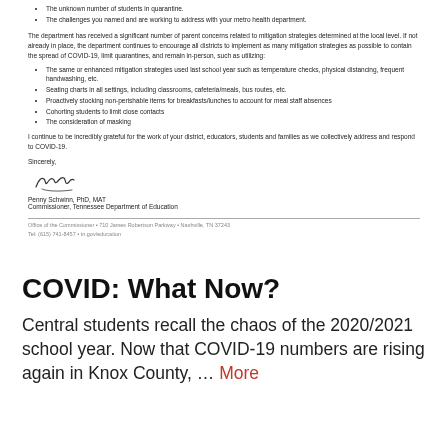The unknown number of students in quarantine.
The challenges you named and are working to address with your metro health department.
The department has received a significant number of parent concerns related to mitigation strategies determined at the local level. If not already in place, the department continues to encourage all districts to implement as many mitigation strategies as possible to contain the spread of COVID-19, limit quarantines, and remain in-person, such as utilizing:
The same or enhanced mitigation strategies used last school year such as temperature checks, physical distancing, frequent handwashing, etc.
Seating charts in all settings, including classrooms, cafeteria/meals, bus routes, etc.
Proactively stocking non-perishable items for breakfasts/lunches to account for meal staff absences
Cohorting students to limit close contacts
The consideration of masking
I continue to be incredibly grateful for the work of your district, educators, students and families as we collectively address and respond to COVID-19.
Sincerely,
[Figure (illustration): Handwritten signature of Penny Schwinn]
Penny Schwinn, PhD, MAT
Commissioner, Tennessee Department of Education
Office of the Commissioner • 710 James Robertson Parkway • Nashville, TN 37243
Tel: (615) 741-8457 • tn.gov/education
COVID: What Now?
Central students recall the chaos of the 2020/2021 school year. Now that COVID-19 numbers are rising again in Knox County, … More